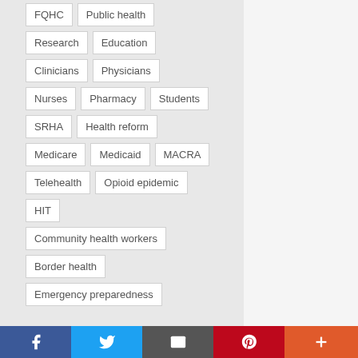FQHC
Public health
Research
Education
Clinicians
Physicians
Nurses
Pharmacy
Students
SRHA
Health reform
Medicare
Medicaid
MACRA
Telehealth
Opioid epidemic
HIT
Community health workers
Border health
Emergency preparedness